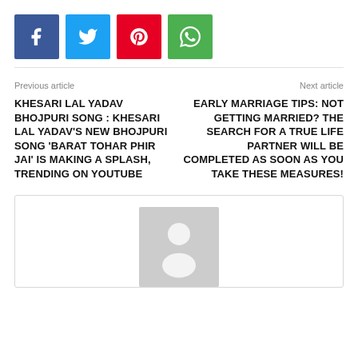[Figure (other): Social share buttons: Facebook (blue), Twitter (light blue), Pinterest (red), WhatsApp (green)]
Previous article
Next article
KHESARI LAL YADAV BHOJPURI SONG : KHESARI LAL YADAV'S NEW BHOJPURI SONG 'BARAT TOHAR PHIR JAI' IS MAKING A SPLASH, TRENDING ON YOUTUBE
EARLY MARRIAGE TIPS: NOT GETTING MARRIED? THE SEARCH FOR A TRUE LIFE PARTNER WILL BE COMPLETED AS SOON AS YOU TAKE THESE MEASURES!
[Figure (photo): Author avatar placeholder — grey background with white silhouette of a person]